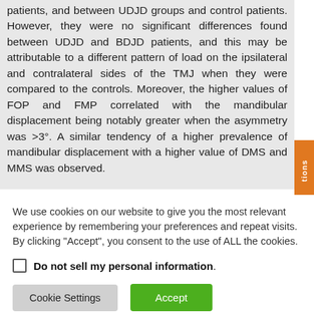patients, and between UDJD groups and control patients. However, they were no significant differences found between UDJD and BDJD patients, and this may be attributable to a different pattern of load on the ipsilateral and contralateral sides of the TMJ when they were compared to the controls. Moreover, the higher values of FOP and FMP correlated with the mandibular displacement being notably greater when the asymmetry was >3°. A similar tendency of a higher prevalence of mandibular displacement with a higher value of DMS and MMS was observed.
We use cookies on our website to give you the most relevant experience by remembering your preferences and repeat visits. By clicking "Accept", you consent to the use of ALL the cookies.
Do not sell my personal information.
Cookie Settings   Accept